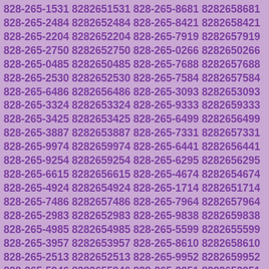828-265-1531 8282651531 828-265-8681 8282658681 828-265-2484 8282652484 828-265-8421 8282658421 828-265-2204 8282652204 828-265-7919 8282657919 828-265-2750 8282652750 828-265-0266 8282650266 828-265-0485 8282650485 828-265-7688 8282657688 828-265-2530 8282652530 828-265-7584 8282657584 828-265-6486 8282656486 828-265-3093 8282653093 828-265-3324 8282653324 828-265-9333 8282659333 828-265-3425 8282653425 828-265-6499 8282656499 828-265-3887 8282653887 828-265-7331 8282657331 828-265-9974 8282659974 828-265-6441 8282656441 828-265-9254 8282659254 828-265-6295 8282656295 828-265-6615 8282656615 828-265-4674 8282654674 828-265-4924 8282654924 828-265-1714 8282651714 828-265-7486 8282657486 828-265-7964 8282657964 828-265-2983 8282652983 828-265-9838 8282659838 828-265-4985 8282654985 828-265-5599 8282655599 828-265-3957 8282653957 828-265-8610 8282658610 828-265-2513 8282652513 828-265-9952 8282659952 828-265-5946 8282655946 828-265-2051 8282652051